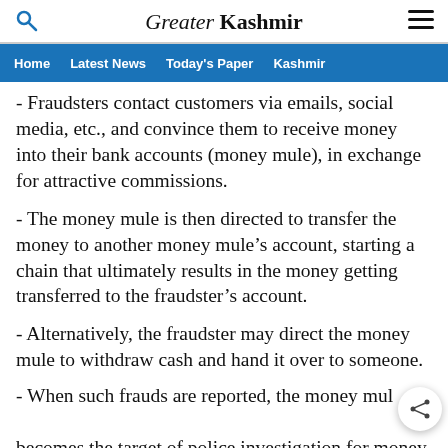Greater Kashmir
Home | Latest News | Today's Paper | Kashmir
- Fraudsters contact customers via emails, social media, etc., and convince them to receive money into their bank accounts (money mule), in exchange for attractive commissions.
- The money mule is then directed to transfer the money to another money mule’s account, starting a chain that ultimately results in the money getting transferred to the fraudster’s account.
- Alternatively, the fraudster may direct the money mule to withdraw cash and hand it over to someone.
- When such frauds are reported, the money mule becomes the target of police investigation for money